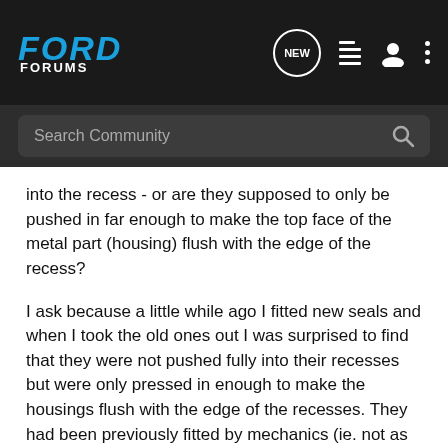FORD FORUMS
into the recess - or are they supposed to only be pushed in far enough to make the top face of the metal part (housing) flush with the edge of the recess?
I ask because a little while ago I fitted new seals and when I took the old ones out I was surprised to find that they were not pushed fully into their recesses but were only pressed in enough to make the housings flush with the edge of the recesses. They had been previously fitted by mechanics (ie. not as came from factory).
IT'LL GO OR IT'LL BLOW!!!